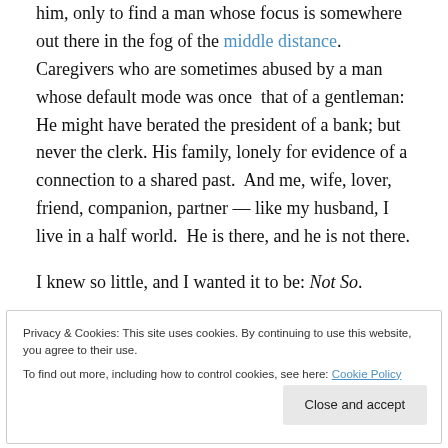him, only to find a man whose focus is somewhere out there in the fog of the middle distance. Caregivers who are sometimes abused by a man whose default mode was once that of a gentleman: He might have berated the president of a bank; but never the clerk. His family, lonely for evidence of a connection to a shared past. And me, wife, lover, friend, companion, partner — like my husband, I live in a half world. He is there, and he is not there.
I knew so little, and I wanted it to be: Not So.
The past seven years have been years of learning, of
Privacy & Cookies: This site uses cookies. By continuing to use this website, you agree to their use.
To find out more, including how to control cookies, see here: Cookie Policy